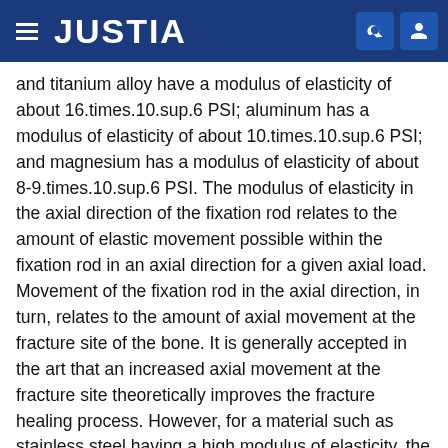JUSTIA
and titanium alloy have a modulus of elasticity of about 16.times.10.sup.6 PSI; aluminum has a modulus of elasticity of about 10.times.10.sup.6 PSI; and magnesium has a modulus of elasticity of about 8-9.times.10.sup.6 PSI. The modulus of elasticity in the axial direction of the fixation rod relates to the amount of elastic movement possible within the fixation rod in an axial direction for a given axial load. Movement of the fixation rod in the axial direction, in turn, relates to the amount of axial movement at the fracture site of the bone. It is generally accepted in the art that an increased axial movement at the fracture site theoretically improves the fracture healing process. However, for a material such as stainless steel having a high modulus of elasticity, the loads experienced at the fracture site are not sufficient to elastically deform the fixation bar. Accordingly, no movement of the bone in an axial direction at the